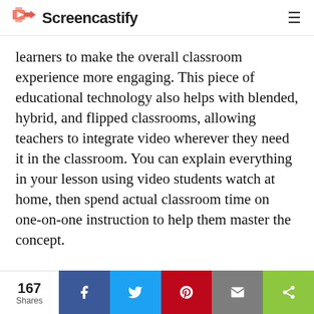Screencastify
learners to make the overall classroom experience more engaging. This piece of educational technology also helps with blended, hybrid, and flipped classrooms, allowing teachers to integrate video wherever they need it in the classroom. You can explain everything in your lesson using video students watch at home, then spend actual classroom time on one-on-one instruction to help them master the concept.

Screencastify gives you a simple tool that lets you record, edit, and share video assignments
167 Shares  [Facebook] [Twitter] [Pinterest] [Mail] [Share]